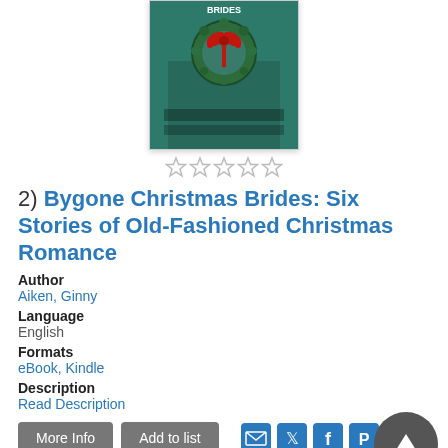[Figure (photo): Book cover for Bygone Christmas Brides showing a green door with a Christmas wreath with red bow]
[Figure (other): Five empty star rating icons]
2) Bygone Christmas Brides: Six Stories of Old-Fashioned Christmas Romance
Author
Aiken, Ginny
Language
English
Formats
eBook, Kindle
Description
Read Description